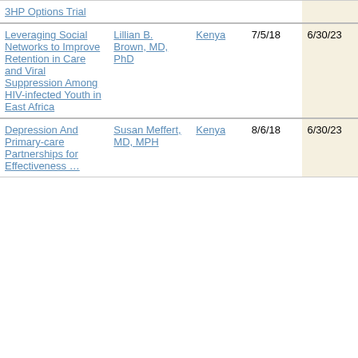| 3HP Options Trial |  |  |  |  |
| Leveraging Social Networks to Improve Retention in Care and Viral Suppression Among HIV-infected Youth in East Africa | Lillian B. Brown, MD, PhD | Kenya | 7/5/18 | 6/30/23 |
| Depression And Primary-care Partnerships for Effectiveness … | Susan Meffert, MD, MPH | Kenya | 8/6/18 | 6/30/23 |